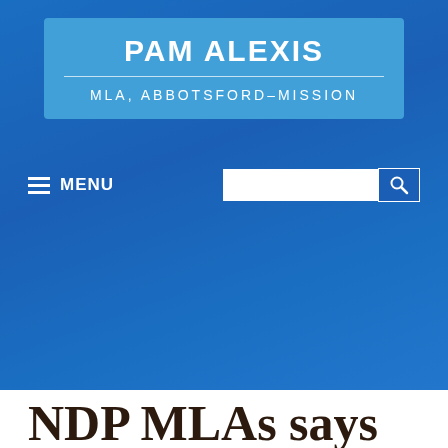PAM ALEXIS
MLA, ABBOTSFORD-MISSION
MENU
NDP MLAs says